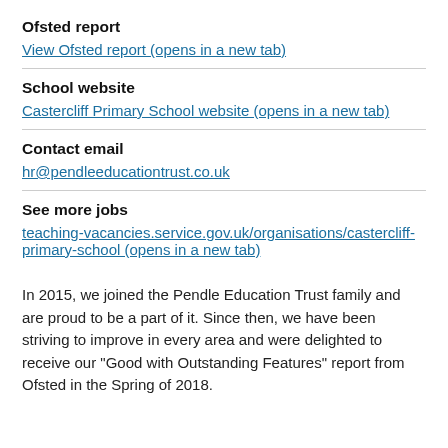Ofsted report
View Ofsted report (opens in a new tab)
School website
Castercliff Primary School website (opens in a new tab)
Contact email
hr@pendleeducationtrust.co.uk
See more jobs
teaching-vacancies.service.gov.uk/organisations/castercliff-primary-school (opens in a new tab)
In 2015, we joined the Pendle Education Trust family and are proud to be a part of it. Since then, we have been striving to improve in every area and were delighted to receive our "Good with Outstanding Features" report from Ofsted in the Spring of 2018.